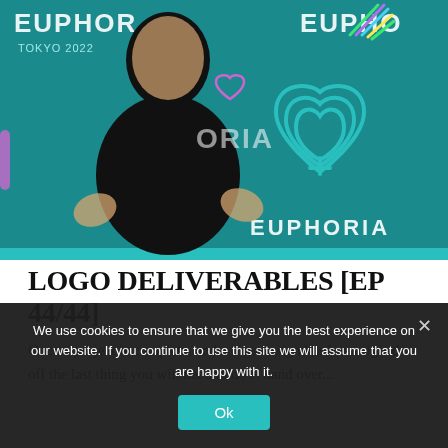[Figure (photo): Thumbnail image showing a smiling man in a black sweater with hands raised, set against a teal background with 'EUPHORIA TOKYO 2022' branding, colorful heart/leaf logos, and the word EUPHORIA repeated.]
LOGO DELIVERABLES [EP 44/44]
Once a project is complete, and a logo design has been signed off the last thing you will need to do is hand over...
We use cookies to ensure that we give you the best experience on our website. If you continue to use this site we will assume that you are happy with it.